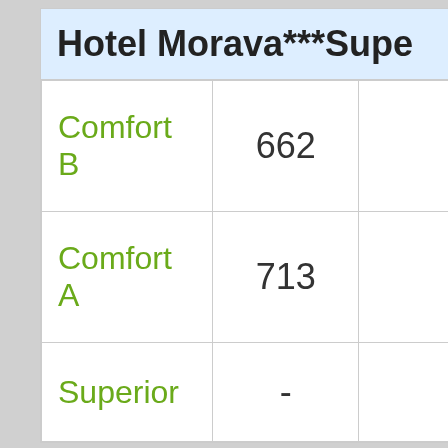| Hotel Morava***Supe... |  |  |
| --- | --- | --- |
| Comfort B | 662 |  |
| Comfort A | 713 |  |
| Superior | - |  |